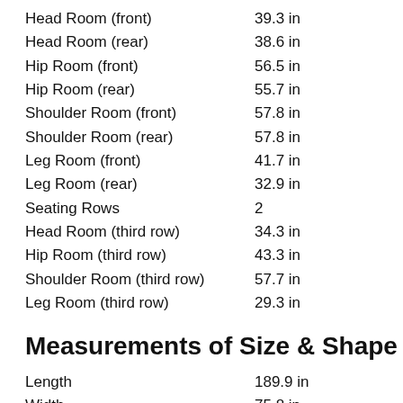| Attribute | Value |
| --- | --- |
| Head Room (front) | 39.3 in |
| Head Room (rear) | 38.6 in |
| Hip Room (front) | 56.5 in |
| Hip Room (rear) | 55.7 in |
| Shoulder Room (front) | 57.8 in |
| Shoulder Room (rear) | 57.8 in |
| Leg Room (front) | 41.7 in |
| Leg Room (rear) | 32.9 in |
| Seating Rows | 2 |
| Head Room (third row) | 34.3 in |
| Hip Room (third row) | 43.3 in |
| Shoulder Room (third row) | 57.7 in |
| Leg Room (third row) | 29.3 in |
Measurements of Size & Shape
| Attribute | Value |
| --- | --- |
| Length | 189.9 in |
| Width | 75.8 in |